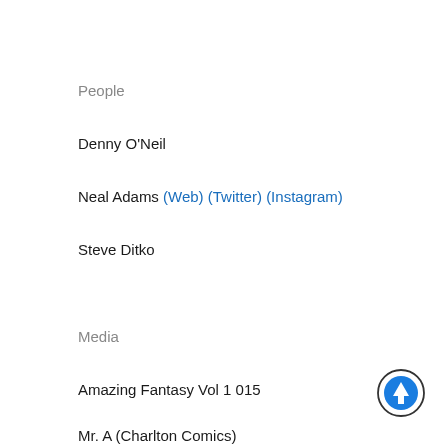People
Denny O'Neil
Neal Adams (Web) (Twitter) (Instagram)
Steve Ditko
Media
Amazing Fantasy Vol 1 015
Mr. A (Charlton Comics)